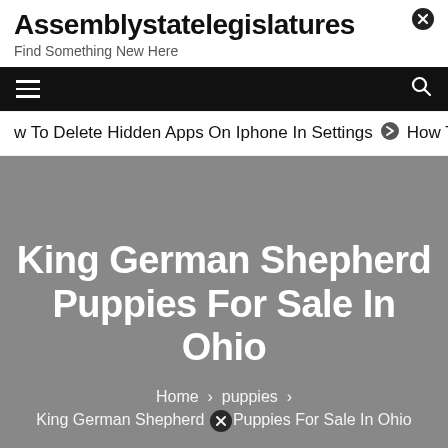Assemblystatelegislatures
Find Something New Here
[Figure (screenshot): Black navigation bar with hamburger menu icon on the left and search icon on the right]
w To Delete Hidden Apps On Iphone In Settings ➔ How To
King German Shepherd Puppies For Sale In Ohio
Home › puppies › King German Shepherd Puppies For Sale In Ohio